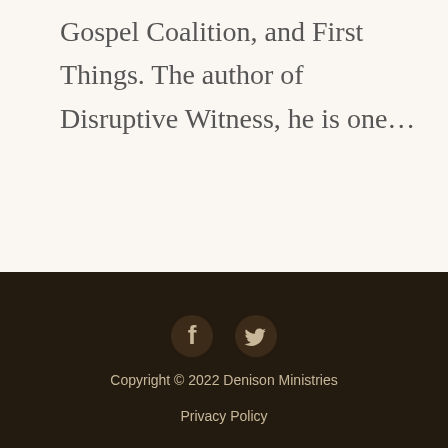Gospel Coalition, and First Things. The author of Disruptive Witness, he is one…
Copyright © 2022 Denison Ministries
Privacy Policy